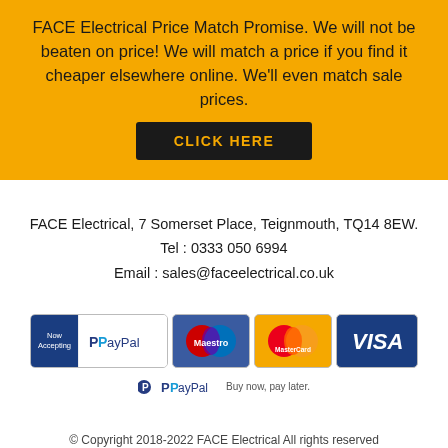FACE Electrical Price Match Promise. We will not be beaten on price! We will match a price if you find it cheaper elsewhere online. We'll even match sale prices.
CLICK HERE
FACE Electrical, 7 Somerset Place, Teignmouth, TQ14 8EW.
Tel : 0333 050 6994
Email : sales@faceelectrical.co.uk
[Figure (logo): Payment method logos: Now Accepting / PayPal, Maestro, MasterCard, VISA, and PayPal Buy now pay later]
© Copyright 2018-2022 FACE Electrical All rights reserved